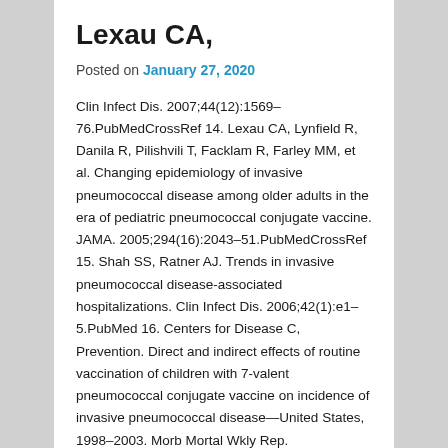Lexau CA,
Posted on January 27, 2020
Clin Infect Dis. 2007;44(12):1569–76.PubMedCrossRef 14. Lexau CA, Lynfield R, Danila R, Pilishvili T, Facklam R, Farley MM, et al. Changing epidemiology of invasive pneumococcal disease among older adults in the era of pediatric pneumococcal conjugate vaccine. JAMA. 2005;294(16):2043–51.PubMedCrossRef 15. Shah SS, Ratner AJ. Trends in invasive pneumococcal disease-associated hospitalizations. Clin Infect Dis. 2006;42(1):e1–5.PubMed 16. Centers for Disease C, Prevention. Direct and indirect effects of routine vaccination of children with 7-valent pneumococcal conjugate vaccine on incidence of invasive pneumococcal disease—United States, 1998–2003. Morb Mortal Wkly Rep. 2005;54(36):893–7. 17. Talbot TR, Poehling
KA, Hartert TV, Arbogast PG, Halasa NB, Mitchel E, et al. Reduction in high rates of antibiotic-nonsusceptible